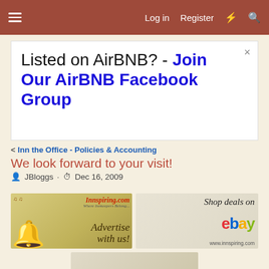≡  Log in  Register
[Figure (screenshot): Modal/popup banner ad: 'Listed on AirBNB? - Join Our AirBNB Facebook Group' with a close (×) button]
< Inn the Office - Policies & Accounting
We look forward to your visit!
JBloggs · Dec 16, 2009
[Figure (photo): Innspiring.com advertisement banner showing a hotel bell and text 'Innspiring.com Where Innkeepers Belong... Advertise with us!']
[Figure (photo): eBay shop deals advertisement showing towels/linens and eBay logo with text 'Shop deals on ebay' and www.innspiring.com]
[Figure (photo): Partial 'Find deals on' advertisement banner at bottom of page]